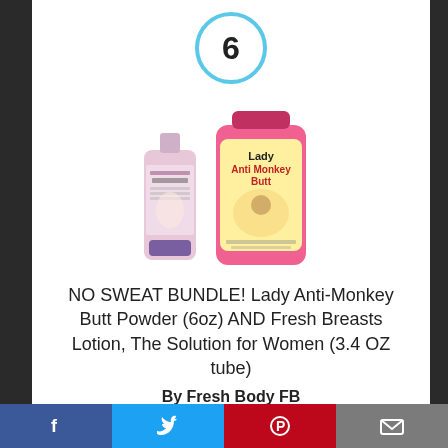6
[Figure (photo): Two product bottles: Fresh Breasts lotion tube (pink/purple) and Lady Anti-Monkey Butt powder bottle (pink), side by side on white background.]
NO SWEAT BUNDLE! Lady Anti-Monkey Butt Powder (6oz) AND Fresh Breasts Lotion, The Solution for Women (3.4 OZ tube)
By Fresh Body FB
View Product
Facebook | Twitter | Pinterest | Email